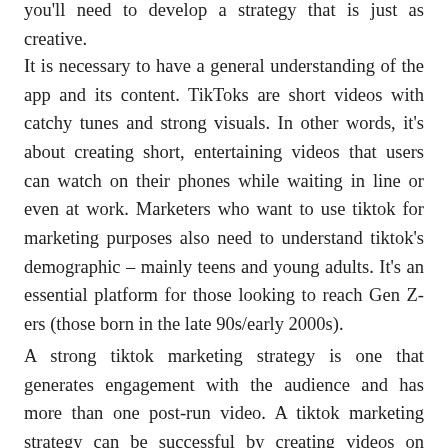you'll need to develop a strategy that is just as creative.
It is necessary to have a general understanding of the app and its content. TikToks are short videos with catchy tunes and strong visuals. In other words, it's about creating short, entertaining videos that users can watch on their phones while waiting in line or even at work. Marketers who want to use tiktok for marketing purposes also need to understand tiktok's demographic – mainly teens and young adults. It's an essential platform for those looking to reach Gen Z-ers (those born in the late 90s/early 2000s).
A strong tiktok marketing strategy is one that generates engagement with the audience and has more than one post-run video. A tiktok marketing strategy can be successful by creating videos on trending topics. You could also consider using some